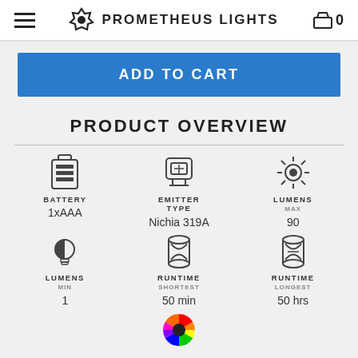PROMETHEUS LIGHTS
ADD TO CART
PRODUCT OVERVIEW
| BATTERY | EMITTER TYPE | LUMENS MAX |
| --- | --- | --- |
| 1xAAA | Nichia 319A | 90 |
| LUMENS MIN | RUNTIME SHORTEST | RUNTIME LONGEST |
| 1 | 50 min | 50 hrs |